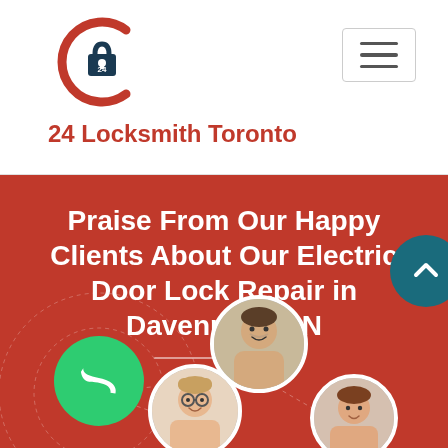[Figure (logo): 24 Locksmith Toronto logo with C-shaped arc and padlock icon]
24 Locksmith Toronto
[Figure (screenshot): Hamburger/menu button icon (three horizontal lines)]
Praise From Our Happy Clients About Our Electric Door Lock Repair in Davenport, ON
[Figure (infographic): Network of reviewer portrait circles and green phone icon on red background]